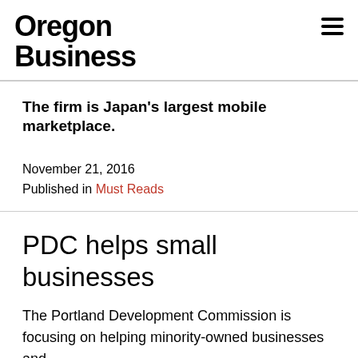Oregon Business
The firm is Japan's largest mobile marketplace.
November 21, 2016
Published in Must Reads
PDC helps small businesses
The Portland Development Commission is focusing on helping minority-owned businesses and